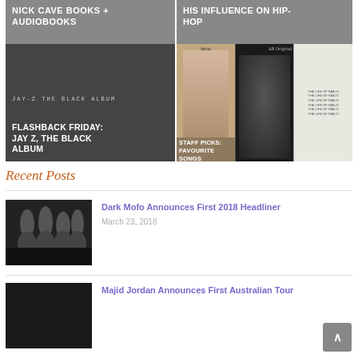[Figure (photo): Top image grid with four panels: Nick Cave Books + Audiobooks (top left), His Influence on Hip-Hop (top right), Flashback Friday: Jay Z, The Black Album (bottom left with album art), Staff Picks: Favourite Songs 2016 (bottom right with three album covers - Blonde, AB Original, The Life of Pablo)]
Recent Posts
[Figure (photo): Black and white photo of a dark metal/rock band with four members, long hair, dark clothing]
Dark Mofo Announces First 2018 Headliner
March 23, 2018
[Figure (photo): Partial black and white photo, second recent post thumbnail]
Majid Jordan Announces First Australian Tour